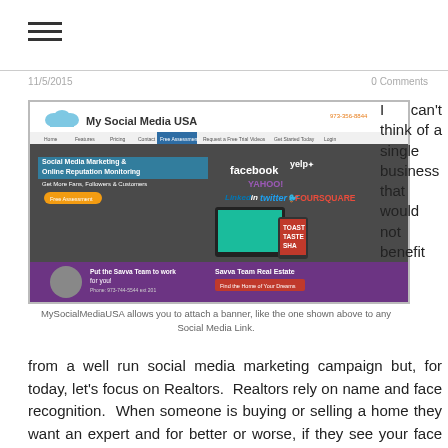11/5/2015   0 Comments
[Figure (screenshot): Screenshot of MySocialMediaUSA website showing Social Media Marketing & Online Reputation Monitoring with social network logos (facebook, yelp, YAHOO, LinkedIn, twitter, FOURSQUARE) and a banner for Savva Team Real Estate]
MySocialMediaUSA allows you to attach a banner, like the one shown above to any Social Media Link.
I can't think of a single business that would not benefit from a well run social media marketing campaign but, for today, let's focus on Realtors. Realtors rely on name and face recognition. When someone is buying or selling a home they want an expert and for better or worse, if they see your face more frequently, you